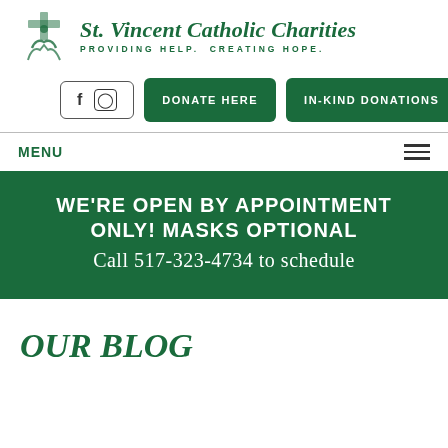[Figure (logo): St. Vincent Catholic Charities logo with cross and figure icon, green color, with tagline PROVIDING HELP. CREATING HOPE.]
[Figure (infographic): Navigation row with social media icons (Facebook, Instagram), DONATE HERE button, and IN-KIND DONATIONS button, all in dark green]
MENU
WE'RE OPEN BY APPOINTMENT ONLY! MASKS OPTIONAL Call 517-323-4734 to schedule
OUR BLOG